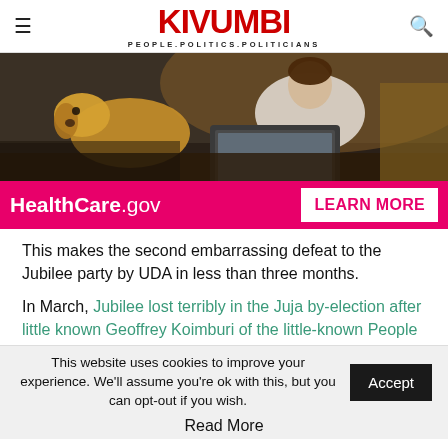KIVUMBI — PEOPLE.POLITICS.POLITICIANS
[Figure (photo): Person working on a laptop at a desk with a dog beside them, indoor setting]
[Figure (infographic): HealthCare.gov advertisement banner with pink background and LEARN MORE button]
This makes the second embarrassing defeat to the Jubilee party by UDA in less than three months.
In March, Jubilee lost terribly in the Juja by-election after little known Geoffrey Koimburi of the little-known People
This website uses cookies to improve your experience. We'll assume you're ok with this, but you can opt-out if you wish. Accept
Read More